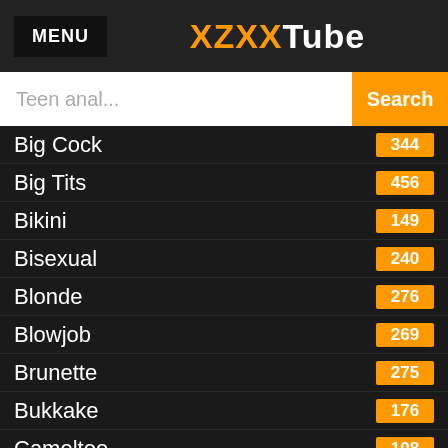MENU   XZXXTube
Teen anal... Search
Big Cock 344
Big Tits 456
Bikini 149
Bisexual 240
Blonde 276
Blowjob 269
Brunette 275
Bukkake 176
Cameltoe 108
Car 201
Cartoon 179